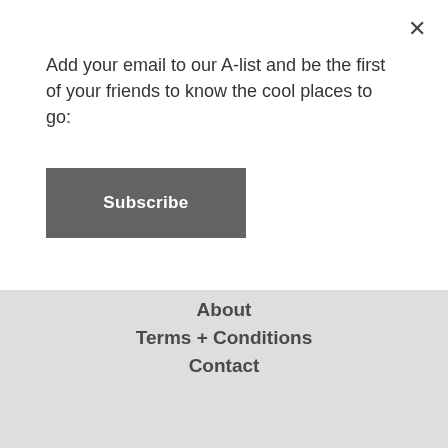Add your email to our A-list and be the first of your friends to know the cool places to go:
Subscribe
About
Terms + Conditions
Contact
DOWNLOADS
Travel Guides
Bucket Lists
INDEX
Celebrities